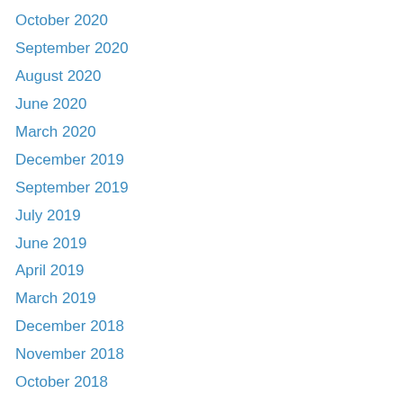October 2020
September 2020
August 2020
June 2020
March 2020
December 2019
September 2019
July 2019
June 2019
April 2019
March 2019
December 2018
November 2018
October 2018
September 2018
August 2018
July 2018
June 2018
May 2018
April 2018